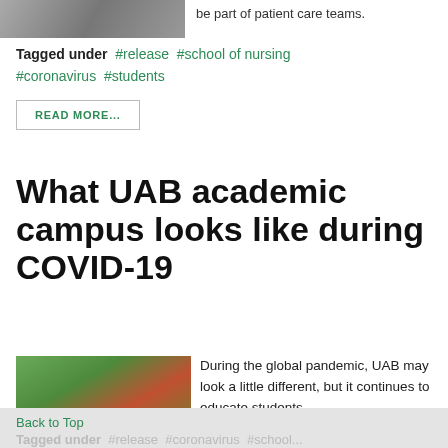[Figure (photo): Partial photo of people, cropped at top of page]
be part of patient care teams.
Tagged under  #release  #school of nursing  #coronavirus  #students
READ MORE...
What UAB academic campus looks like during COVID-19
[Figure (photo): Students wearing masks on UAB campus with greenery and brick buildings in background]
During the global pandemic, UAB may look a little different, but it continues to educate students.
Back to Top
Tagged under  #release  #coronavirus  #school...